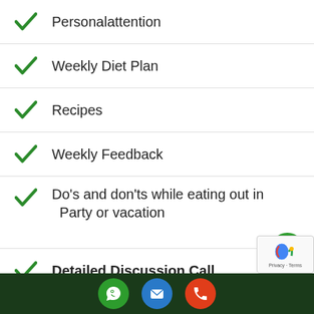Personalattention
Weekly Diet Plan
Recipes
Weekly Feedback
Do's and don'ts while eating out in Party or vacation
Detailed Discussion Call
WhatsApp | Email | Phone